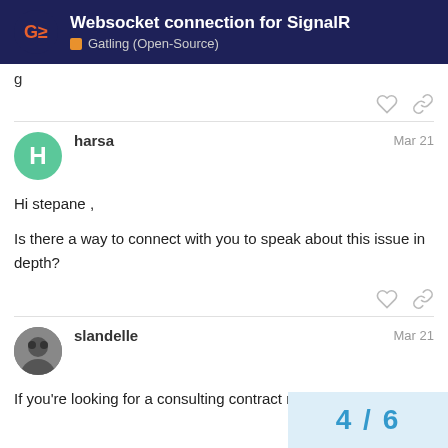Websocket connection for SignalR — Gatling (Open-Source)
g
harsa  Mar 21
Hi stepane ,

Is there a way to connect with you to speak about this issue in depth?
slandelle  Mar 21
If you're looking for a consulting contract reach out here.
4 / 6